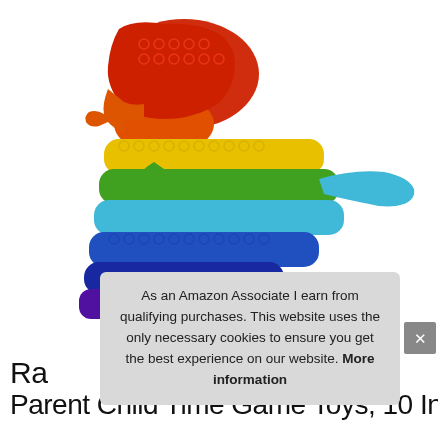[Figure (photo): A rainbow-colored pop-it fidget toy in the shape of a T-Rex dinosaur. The dinosaur is filled with circular bubble shapes arranged in rows, colored in rainbow stripes from red/orange at the top (head) through yellow, green, light blue, blue, and purple at the bottom (legs and tail).]
As an Amazon Associate I earn from qualifying purchases. This website uses the only necessary cookies to ensure you get the best experience on our website. More information
Ra... Parent Child Time Game Toys, 10 Inch